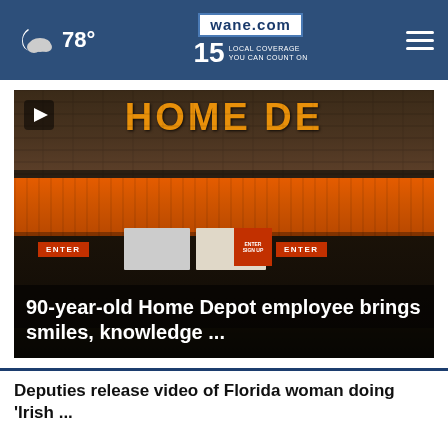78° | wane.com | 15 LOCAL COVERAGE YOU CAN COUNT ON
[Figure (photo): Home Depot store exterior with orange awning and ENTER signs visible, video thumbnail with play button overlay]
90-year-old Home Depot employee brings smiles, knowledge ...
Deputies release video of Florida woman doing 'Irish ...